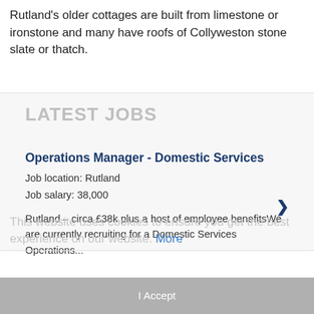Rutland's older cottages are built from limestone or ironstone and many have roofs of Collyweston stone slate or thatch.
LATEST JOBS
Operations Manager - Domestic Services
Job location: Rutland
Job salary: 38,000
Rutland – circa £38k plus a host of employee benefitsWe are currently recruiting for a Domestic Services Operations...
This website uses cookies to ensure you get the best experience on our website. More
I Accept